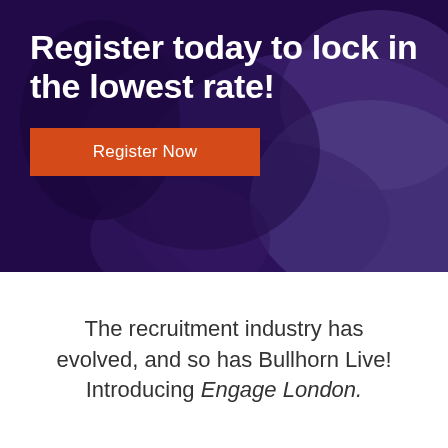[Figure (photo): Dark purple-toned background photo of a person, overlaid with a purple/violet gradient tint]
Register today to lock in the lowest rate!
Register Now
The recruitment industry has evolved, and so has Bullhorn Live! Introducing Engage London.